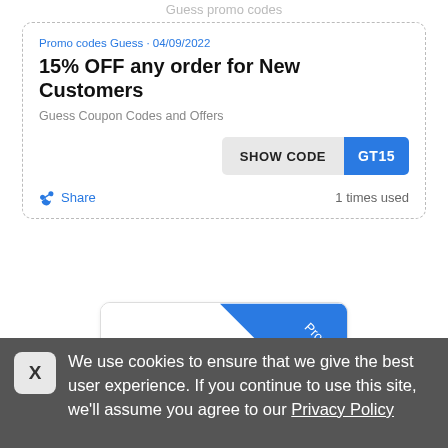Guess promo codes
Promo codes Guess · 04/09/2022
15% OFF any order for New Customers
Guess Coupon Codes and Offers
SHOW CODE  GT15
Share   1 times used
[Figure (logo): Dress INN promo code card with blue diagonal banner and dress INN logo. Text: Promo code, dress INN, Tienda de moda]
We use cookies to ensure that we give the best user experience. If you continue to use this site, we'll assume you agree to our Privacy Policy